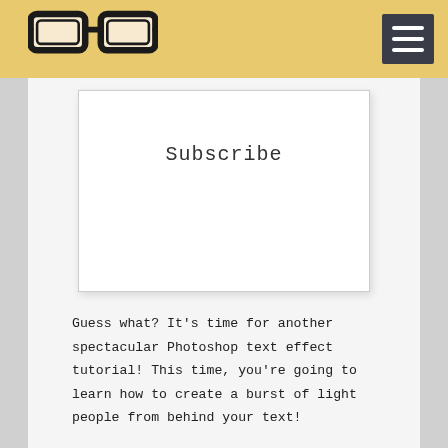Subscribe
Guess what? It’s time for another spectacular Photoshop text effect tutorial! This time, you’re going to learn how to create a burst of light people from behind your text!
It’s going to be awesome! So, if you’re ready to master this text effect, let’s do it.